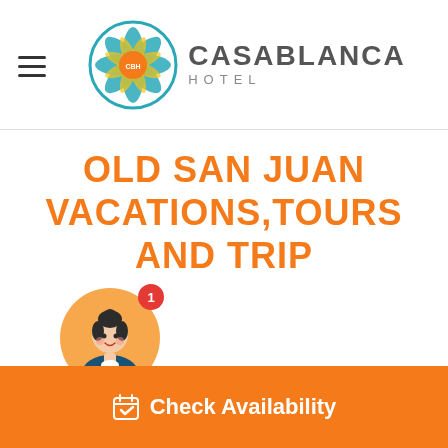Casablanca Hotel — Navigation header with logo
OLD SAN JUAN VACATIONS,TOURS AND TRIP
[Figure (illustration): Hotel concierge avatar (female with bun hair, in orange circle) with red notification badge showing number 1]
Check Availability